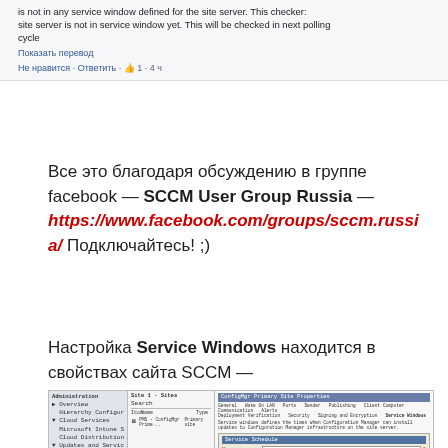is not in any service window defined for the site server. This checker: site server is not in service window yet. This will be checked in next polling cycle
Показать перевод
Не нравится · Ответить · 👍 1 · 4 ч
Все это благодаря обсуждению в группе facebook — SCCM User Group Russia — https://www.facebook.com/groups/sccm.russia/ Подключайтесь! ;)
Настройка Service Windows находится в свойствах сайта SCCM — Administration\Overview\Site Configuration\Sites
[Figure (screenshot): Screenshot of SCCM Administration console showing Sites configuration and ConfigMgr Primary Site Properties dialog with Service Windows tab open]